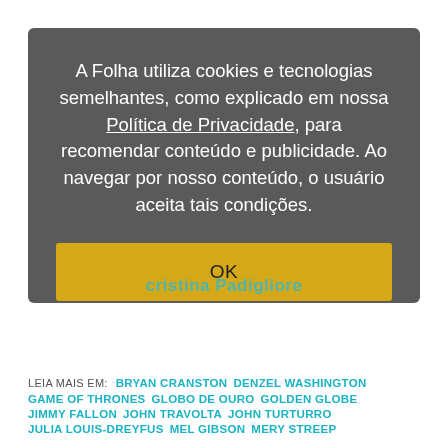[Figure (screenshot): Cookie consent modal dialog with dark gray background. Text reads: 'A Folha utiliza cookies e tecnologias semelhantes, como explicado em nossa Política de Privacidade, para recomendar conteúdo e publicidade. Ao navegar por nosso conteúdo, o usuário aceita tais condições.' Below is a yellow OK button. A faded teal text 'cristina Padigliore' is visible behind the modal at the bottom.]
LEIA MAIS EM: BRYAN CRANSTON   DENZEL WASHINGTON   GAME OF THRONES   GLOBO DE OURO   GOLDEN GLOBE   JIMMY FALLON   JOHN TRAVOLTA   JOHN TURTURRO   JULIA LOUIS-DREYFUS   MEL GIBSON   MERY STREEP